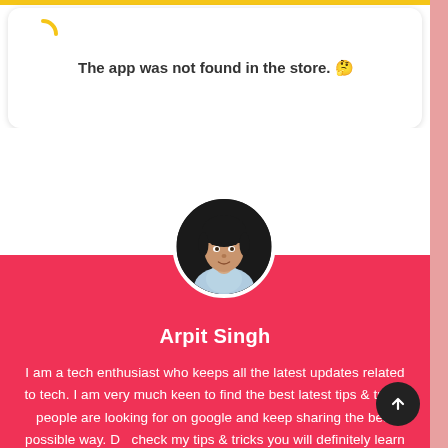[Figure (screenshot): App not found error card with a yellow loading arc icon on the left and bold text reading 'The app was not found in the store. 🤔' on the right, displayed in a rounded white card.]
[Figure (photo): Circular profile photo of a person with short dark hair wearing a light blue shirt, set against a dark background, overlapping the white and red sections.]
Arpit Singh
I am a tech enthusiast who keeps all the latest updates related to tech. I am very much keen to find the best latest tips & tricks people are looking for on google and keep sharing the best possible way. Do check my tips & tricks you will definitely learn fast.